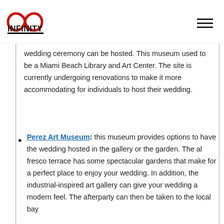Infinity Transportation logo and navigation
wedding ceremony can be hosted. This museum used to be a Miami Beach Library and Art Center. The site is currently undergoing renovations to make it more accommodating for individuals to host their wedding.
Perez Art Museum: this museum provides options to have the wedding hosted in the gallery or the garden. The al fresco terrace has some spectacular gardens that make for a perfect place to enjoy your wedding. In addition, the industrial-inspired art gallery can give your wedding a modern feel. The afterparty can then be taken to the local bay